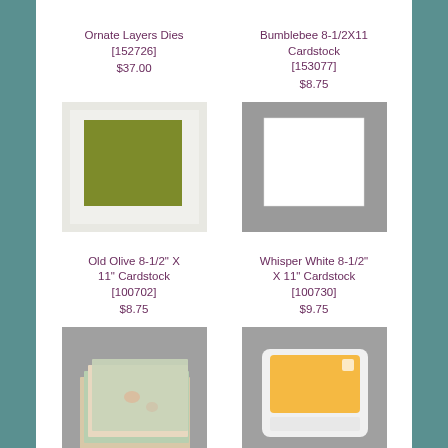Ornate Layers Dies [152726]
$37.00
Bumblebee 8-1/2X11 Cardstock [153077]
$8.75
[Figure (photo): Old Olive green cardstock sheet on light background]
[Figure (photo): Whisper White cardstock sheet on grey background]
Old Olive 8-1/2" X 11" Cardstock [100702]
$8.75
Whisper White 8-1/2" X 11" Cardstock [100730]
$9.75
[Figure (photo): Ornate Garden designer series paper stack fanned out]
[Figure (photo): Bumblebee Classic Stampin Pad ink pad, yellow/orange]
Ornate Garden
Bumblebee Classic